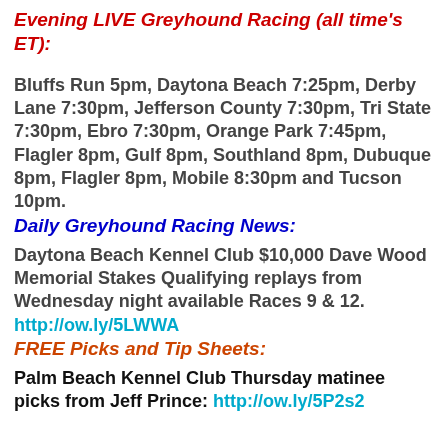Evening LIVE Greyhound Racing (all time's ET):
Bluffs Run 5pm, Daytona Beach 7:25pm, Derby Lane 7:30pm, Jefferson County 7:30pm, Tri State 7:30pm, Ebro 7:30pm, Orange Park 7:45pm, Flagler 8pm, Gulf 8pm, Southland 8pm, Dubuque 8pm, Flagler 8pm, Mobile 8:30pm and Tucson 10pm.
Daily Greyhound Racing News:
Daytona Beach Kennel Club $10,000 Dave Wood Memorial Stakes Qualifying replays from Wednesday night available Races 9 & 12. http://ow.ly/5LWWA
FREE Picks and Tip Sheets:
Palm Beach Kennel Club Thursday matinee picks from Jeff Prince: http://ow.ly/5P2s2